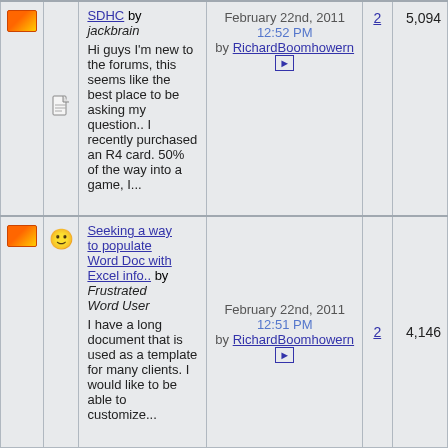|  |  | Topic | Last Post | Replies | Views |
| --- | --- | --- | --- | --- | --- |
| [envelope] | [doc] | SDHC by jackbrain
Hi guys I'm new to the forums, this seems like the best place to be asking my question.. I recently purchased an R4 card. 50% of the way into a game, I... | February 22nd, 2011 12:52 PM by RichardBoomhowern | 2 | 5,094 |
| [envelope] | [smiley] | Seeking a way to populate Word Doc with Excel info.. by Frustrated Word User
I have a long document that is used as a template for many clients. I would like to be able to customize... | February 22nd, 2011 12:51 PM by RichardBoomhowern | 2 | 4,146 |